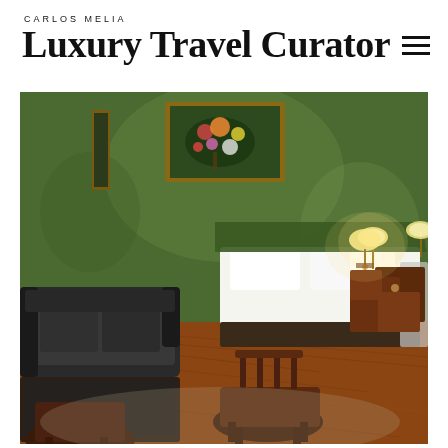CARLOS MELIA Luxury Travel Curator
[Figure (photo): Hotel room interior with green walls, a large white bed with dark throw, two bedside lamps, an ornate gold-framed still life painting on the wall, dark leather sofa, wooden chairs, and hardwood floors — an elegant boutique hotel room.]